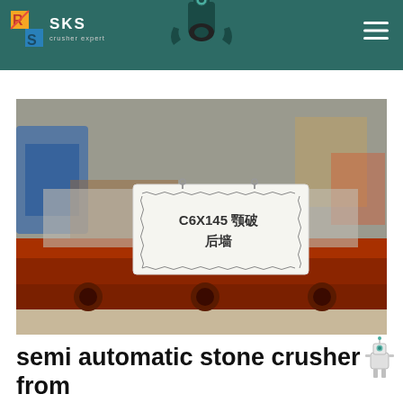SKS Crusher Expert
[Figure (photo): Close-up photo of a jaw crusher component (back wall/rear plate) sitting on wooden beams in a factory. A white label card on the part reads 'C6X145 颚破 后墙' (C6X145 jaw crusher rear wall). Factory equipment visible in blurred background.]
semi automatic stone crusher from